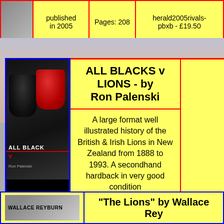|  | published in 2005 | Pages: 208 | herald2005rivals-pbxb - £19.50 |
| --- | --- | --- | --- |
|  |
| [book image] | ALL BLACKS v LIONS - by Ron Palenski |  |  |
| --- | --- | --- | --- |
|  | A large format well illustrated history of the British & Irish Lions in New Zealand from 1888 to 1993. A secondhand hardback in very good condition |  |  |
|  | 1st Edition 2005 | 208 pages | Ref: LA-bkhibr-palenski.2005-wt.1750.xc** - £39.00 | Add to Cart |
| [Wallace Reyburn book image] | "The Lions" by Wallace Rey... |
| --- | --- |
|  |